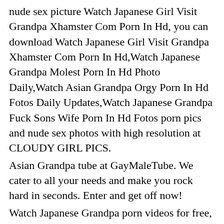nude sex picture Watch Japanese Girl Visit Grandpa Xhamster Com Porn In Hd, you can download Watch Japanese Girl Visit Grandpa Xhamster Com Porn In Hd,Watch Japanese Grandpa Molest Porn In Hd Photo Daily,Watch Asian Grandpa Orgy Porn In Hd Fotos Daily Updates,Watch Japanese Grandpa Fuck Sons Wife Porn In Hd Fotos porn pics and nude sex photos with high resolution at CLOUDY GIRL PICS.
Asian Grandpa tube at GayMaleTube. We cater to all your needs and make you rock hard in seconds. Enter and get off now!
Watch Japanese Grandpa porn videos for free, here on [HOST] Discover the growing collection of high quality Most Relevant XXX movies and clips. No other sex tube is more popular and features more Japanese Grandpa scenes than Pornhub! E...